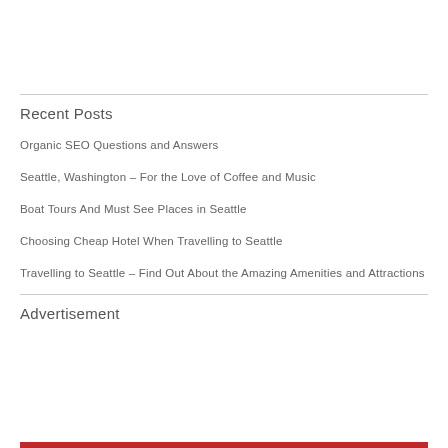Recent Posts
Organic SEO Questions and Answers
Seattle, Washington – For the Love of Coffee and Music
Boat Tours And Must See Places in Seattle
Choosing Cheap Hotel When Travelling to Seattle
Travelling to Seattle – Find Out About the Amazing Amenities and Attractions
Advertisement